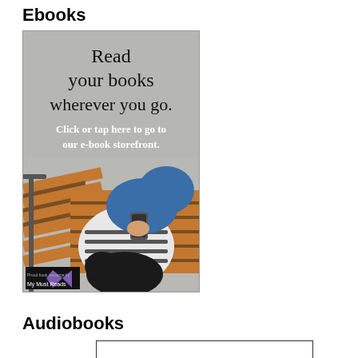Ebooks
[Figure (photo): Advertisement image showing a person reading on a phone while sitting on a bench, with text 'Read your books wherever you go. Click or tap here to go to our e-book storefront.' and a My Must Reads logo in the bottom left corner.]
Audiobooks